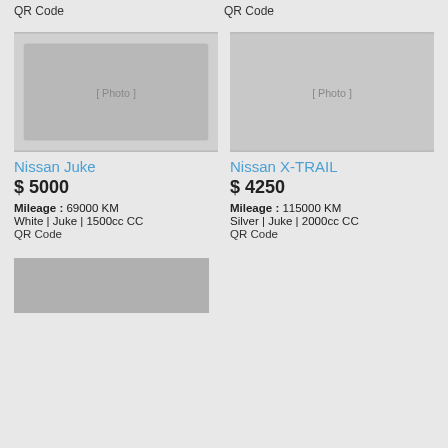QR Code
QR Code
[Figure (photo): White Nissan Juke parked in a lot, front-side view]
[Figure (photo): Silver Nissan X-TRAIL parked in a garage, front-side view]
Nissan Juke
$ 5000
Mileage : 69000 KM
White | Juke | 1500cc CC
QR Code
Nissan X-TRAIL
$ 4250
Mileage : 115000 KM
Silver | Juke | 2000cc CC
QR Code
[Figure (photo): Partial view of a car, bottom of page cut off]